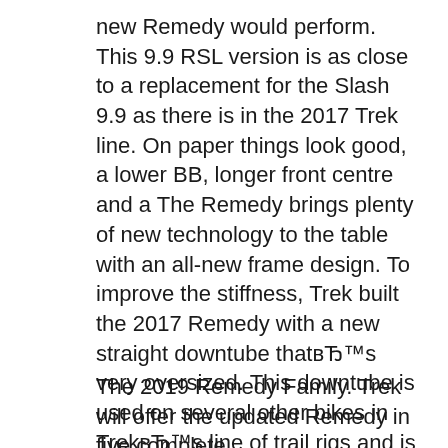new Remedy would perform. This 9.9 RSL version is as close to a replacement for the Slash 9.9 as there is in the 2017 Trek line. On paper things look good, a lower BB, longer front centre and a The Remedy brings plenty of new technology to the table with an all-new frame design. To improve the stiffness, Trek built the 2017 Remedy with a new straight downtube thatвЂ™s very oversized. This downtube is used on several other bikes in TrekвЂ™s line of trail rigs and is claimed to significantly improve overall stiffness. The impressive
The 2019 Remedy Family. Trek will offer the updated Remedy in five complete